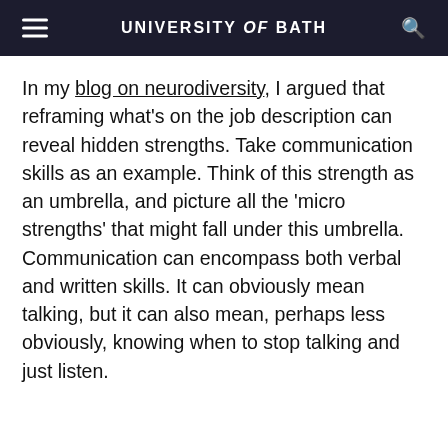UNIVERSITY of BATH
In my blog on neurodiversity, I argued that reframing what's on the job description can reveal hidden strengths. Take communication skills as an example. Think of this strength as an umbrella, and picture all the 'micro strengths' that might fall under this umbrella. Communication can encompass both verbal and written skills. It can obviously mean talking, but it can also mean, perhaps less obviously, knowing when to stop talking and just listen.